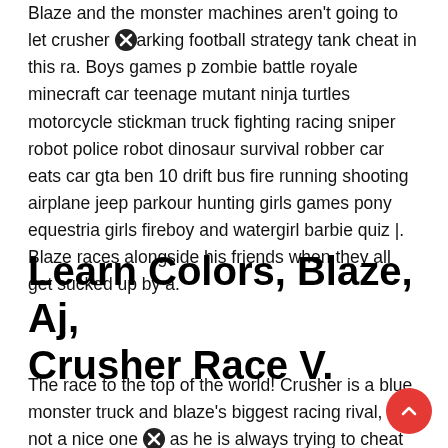Blaze and the monster machines aren't going to let crusher cheat in this ra. Boys games parking football strategy tank zombie battle royale minecraft car teenage mutant ninja turtles motorcycle stickman truck fighting racing sniper robot police robot dinosaur survival robber car eats car gta ben 10 drift bus fire running shooting airplane jeep parkour hunting girls games pony equestria girls fireboy and watergirl barbie quiz |. Blaze races alongside his friends when they all get sucked up by a.
Learn Colors, Blaze, Aj, Crusher Race V.
The race to the top of the world! Crusher is a blue monster truck and blaze's biggest racing rival, but not a nice one as he is always trying to cheat in their races, even inventing gadgets for it. But upon crusher throws them off...